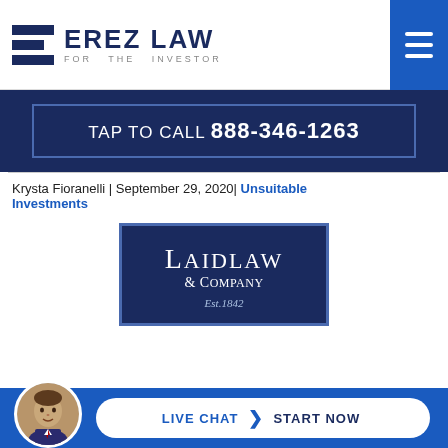[Figure (logo): Erez Law logo with stylized E and tagline FOR THE INVESTOR]
TAP TO CALL 888-346-1263
Krysta Fioranelli | September 29, 2020| Unsuitable Investments
[Figure (logo): Laidlaw & Company Est. 1842 logo on dark navy background]
LIVE CHAT  START NOW